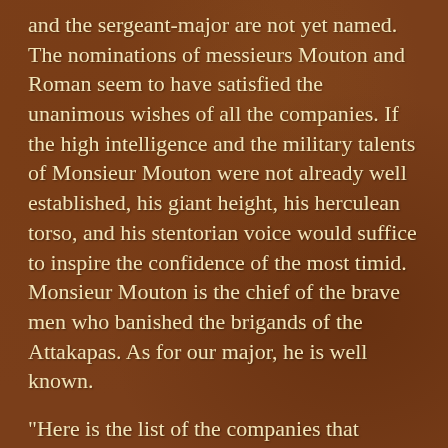and the sergeant-major are not yet named. The nominations of messieurs Mouton and Roman seem to have satisfied the unanimous wishes of all the companies. If the high intelligence and the military talents of Monsieur Mouton were not already well established, his giant height, his herculean torso, and his stentorian voice would suffice to inspire the confidence of the most timid. Monsieur Mouton is the chief of the brave men who banished the brigands of the Attakapas. As for our major, he is well known.
"Here is the list of the companies that compose the battation:
1st Company, St. James Chasseurs. You know the officers (94 soldiers).
"2d Company, St. James Cochins...